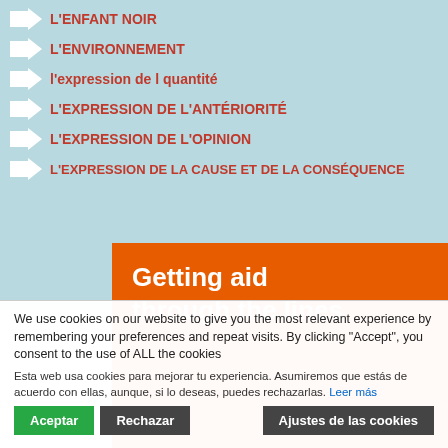L'ENFANT NOIR
L'ENVIRONNEMENT
l'expression de l quantité
L'EXPRESSION DE L'ANTÉRIORITÉ
L'EXPRESSION DE L'OPINION
L'EXPRESSION DE LA CAUSE ET DE LA CONSÉQUENCE
Getting aid through the lines
We use cookies on our website to give you the most relevant experience by remembering your preferences and repeat visits. By clicking "Accept", you consent to the use of ALL the cookies
Esta web usa cookies para mejorar tu experiencia. Asumiremos que estás de acuerdo con ellas, aunque, si lo deseas, puedes rechazarlas. Leer más
Aceptar | Rechazar | Ajustes de las cookies